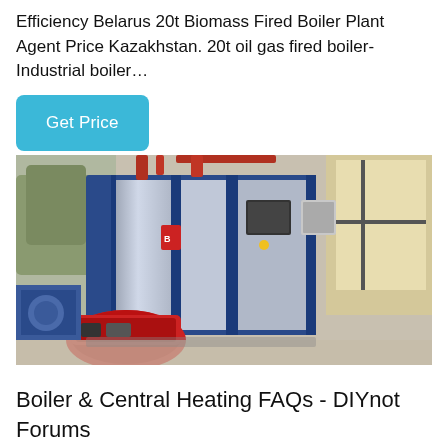Efficiency Belarus 20t Biomass Fired Boiler Plant Agent Price Kazakhstan. 20t oil gas fired boiler-Industrial boiler…
Get Price
[Figure (photo): Industrial steam boiler unit with blue metal casing and red burner assembly, installed in a factory or warehouse setting with pipes visible.]
Boiler & Central Heating FAQs - DIYnot Forums